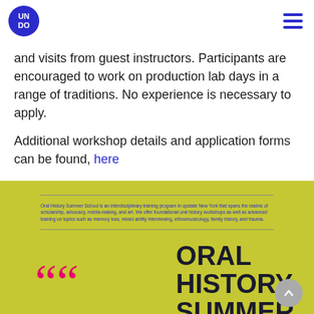UNDO (logo) | hamburger menu
and visits from guest instructors. Participants are encouraged to work on production lab days in a range of traditions. No experience is necessary to apply.
Additional workshop details and application forms can be found, here
[Figure (infographic): Olive/yellow-green background block containing a bordered text box with description of Oral History Summer School, large pink quotation marks on the left, bold dark navy text reading ORAL HISTORY SUMMER on the right, and a grey circular scroll-up button on the bottom right.]